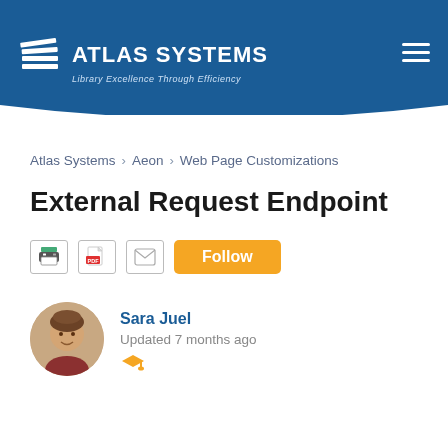[Figure (logo): Atlas Systems logo with book/layers icon and tagline 'Library Excellence Through Efficiency' on blue header background]
Atlas Systems › Aeon › Web Page Customizations
External Request Endpoint
[Figure (other): Action icons: print, PDF, email, and Follow button]
Sara Juel
Updated 7 months ago